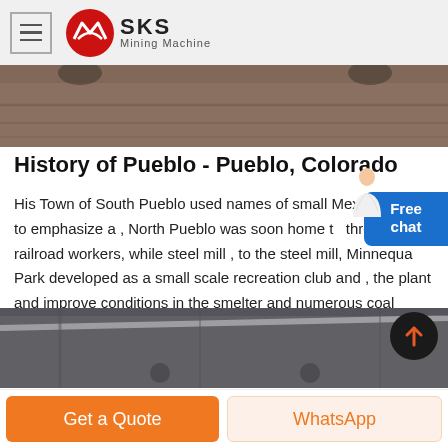[Figure (logo): SKS Mining Machine logo with red circular emblem and hamburger menu icon]
[Figure (photo): Top hero image showing industrial or mining floor surface, partial view]
History of Pueblo - Pueblo, Colorado
His Town of South Pueblo used names of small Mexican towns to emphasize a , North Pueblo was soon home to throngs of railroad workers, while steel mill , to the steel mill, Minnequa Park developed as a small scale recreation club and , the plant and improve conditions in the smelter and numerous coal mining town.
[Figure (photo): Bottom image showing industrial interior with steel beams and lighting]
Get a Quote
WhatsApp